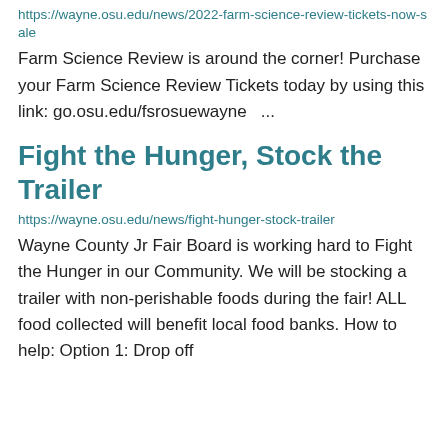https://wayne.osu.edu/news/2022-farm-science-review-tickets-now-sale
Farm Science Review is around the corner! Purchase your Farm Science Review Tickets today by using this link: go.osu.edu/fsrosuewayne  ...
Fight the Hunger, Stock the Trailer
https://wayne.osu.edu/news/fight-hunger-stock-trailer
Wayne County Jr Fair Board is working hard to Fight the Hunger in our Community. We will be stocking a trailer with non-perishable foods during the fair! ALL food collected will benefit local food banks. How to help: Option 1: Drop off